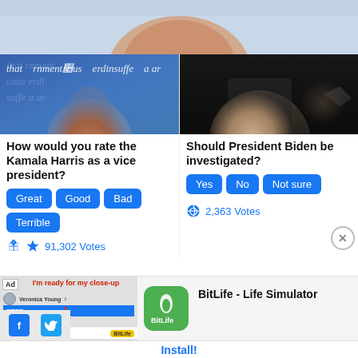[Figure (photo): Partial photo of a smiling person at the top of the page, cropped]
[Figure (photo): Photo of Kamala Harris in front of blue debate backdrop with text overlay]
[Figure (photo): Photo of President Biden in dark setting pointing]
How would you rate the Kamala Harris as a vice president?
Great  Good  Bad  Terrible (poll buttons)
91,302 Votes
Should President Biden be investigated?
Yes  No  Not sure (poll buttons)
2,363 Votes
[Figure (screenshot): Ad for BitLife - Life Simulator app showing game screenshot on left and app icon on right]
BitLife - Life Simulator
Install!